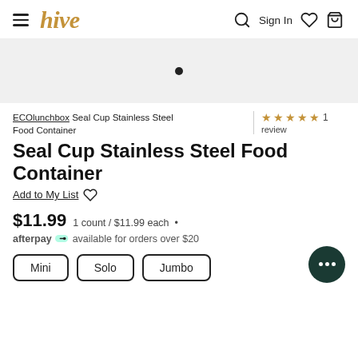hive — Sign In
[Figure (photo): Product image area with a single dot carousel indicator on a light grey background]
ECOlunchbox Seal Cup Stainless Steel Food Container
★★★★★ 1 review
Seal Cup Stainless Steel Food Container
Add to My List ♡
$11.99  1 count / $11.99 each •
afterpay available for orders over $20
Mini
Solo
Jumbo